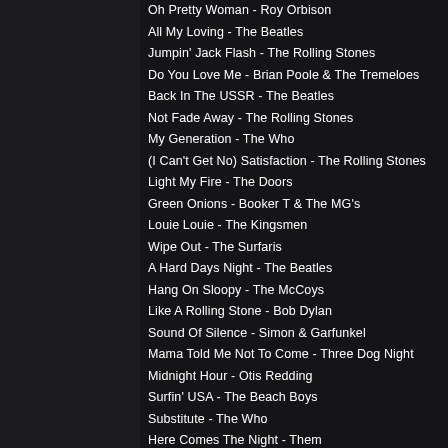Oh Pretty Woman - Roy Orbison
All My Loving - The Beatles
Jumpin' Jack Flash - The Rolling Stones
Do You Love Me - Brian Poole & The Tremeloes
Back In The USSR - The Beatles
Not Fade Away - The Rolling Stones
My Generation - The Who
(I Can't Get No) Satisfaction - The Rolling Stones
Light My Fire - The Doors
Green Onions - Booker T & The MG's
Louie Louie - The Kingsmen
Wipe Out - The Surfaris
A Hard Days Night - The Beatles
Hang On Sloopy - The McCoys
Like A Rolling Stone - Bob Dylan
Sound Of Silence - Simon & Garfunkel
Mama Told Me Not To Come - Three Dog Night
Midnight Hour - Otis Redding
Surfin' USA - The Beach Boys
Substitute - The Who
Here Comes The Night - Them
Friday on my Mind - The Easybeats
Mighty Quinn - Manfred Mann
Summer in the City - Lovin' Spoonful